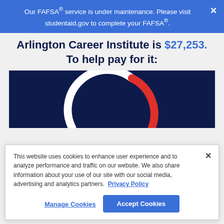Our FAFSA® service is under maintenance. Please visit studentaid.gov to complete your FAFSA®.
Arlington Career Institute is $27,253. To help pay for it:
[Figure (donut-chart): Partial donut/arc chart on dark navy background showing a semi-circular arc with a white segment and a red segment, representing proportions of cost coverage.]
This website uses cookies to enhance user experience and to analyze performance and traffic on our website. We also share information about your use of our site with our social media, advertising and analytics partners. Privacy Policy
Manage Cookies
Accept Cookies